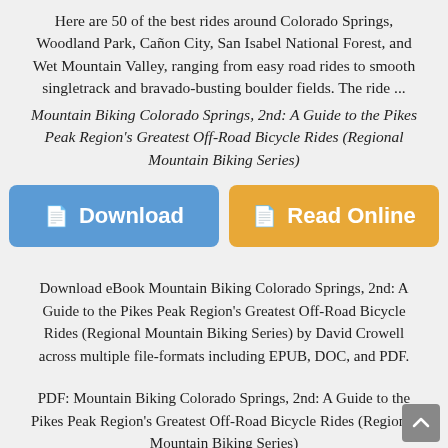Here are 50 of the best rides around Colorado Springs, Woodland Park, Cañon City, San Isabel National Forest, and Wet Mountain Valley, ranging from easy road rides to smooth singletrack and bravado-busting boulder fields. The ride ...
Mountain Biking Colorado Springs, 2nd: A Guide to the Pikes Peak Region's Greatest Off-Road Bicycle Rides (Regional Mountain Biking Series)
[Figure (other): Two buttons side by side: a blue 'Download' button and an orange 'Read Online' button, each with a book/page icon]
Download eBook Mountain Biking Colorado Springs, 2nd: A Guide to the Pikes Peak Region's Greatest Off-Road Bicycle Rides (Regional Mountain Biking Series) by David Crowell across multiple file-formats including EPUB, DOC, and PDF.
PDF: Mountain Biking Colorado Springs, 2nd: A Guide to the Pikes Peak Region's Greatest Off-Road Bicycle Rides (Regional Mountain Biking Series)